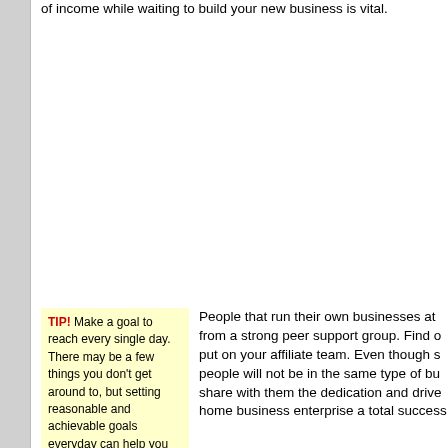of income while waiting to build your new business is vital.
TIP! Make a goal to reach every single day. There may be a few things you don't get around to, but setting reasonable and achievable goals everyday can help you
People that run their own businesses at from a strong peer support group. Find o put on your affiliate team. Even though s people will not be in the same type of bu share with them the dedication and drive home business enterprise a total success